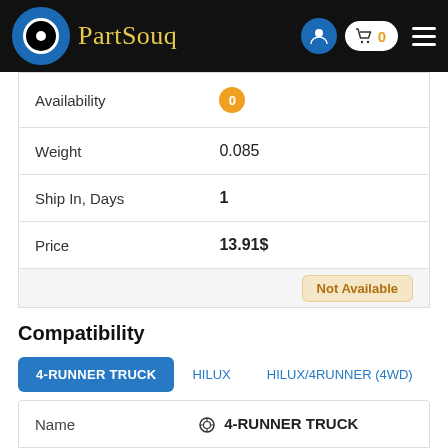[Figure (logo): PartSouq website header with logo, user icon, cart with 0 items, and hamburger menu]
| Availability | 0 |
| Weight | 0.085 |
| Ship In, Days | 1 |
| Price | 13.91$ |
Not Available
Compatibility
4-RUNNER TRUCK | HILUX | HILUX/4RUNNER (4WD)
| Name | 4-RUNNER TRUCK |
| Model | RN101L-TRMDEA |